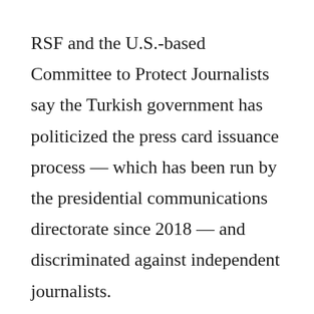RSF and the U.S.-based Committee to Protect Journalists say the Turkish government has politicized the press card issuance process — which has been run by the presidential communications directorate since 2018 — and discriminated against independent journalists.
“One of the most important regulations in this proposal is considering digital media as conventional media and enabling them to apply for press cards,” Mustafa Gokhan Teksen, an Ankara-based lawyer, told VOA. “This would